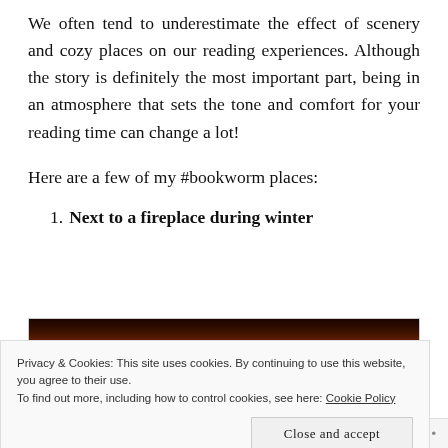We often tend to underestimate the effect of scenery and cozy places on our reading experiences. Although the story is definitely the most important part, being in an atmosphere that sets the tone and comfort for your reading time can change a lot!
Here are a few of my #bookworm places:
1. Next to a fireplace during winter
[Figure (photo): Dark photo of a fireplace with orange and red flames visible against a black background]
Privacy & Cookies: This site uses cookies. By continuing to use this website, you agree to their use.
To find out more, including how to control cookies, see here: Cookie Policy
Close and accept
Follow